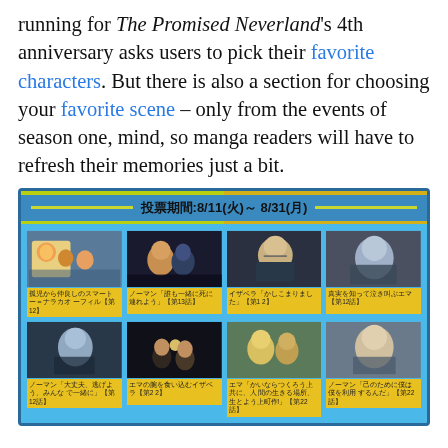running for The Promised Neverland's 4th anniversary asks users to pick their favorite characters. But there is also a section for choosing your favorite scene – only from the events of season one, mind, so manga readers will have to refresh their memories just a bit.
[Figure (screenshot): Screenshot of a Japanese voting poll page for The Promised Neverland 4th anniversary, showing voting period 8/11(火)～8/31(月) with a grid of 8 anime scene thumbnails each with yellow caption boxes containing Japanese text]